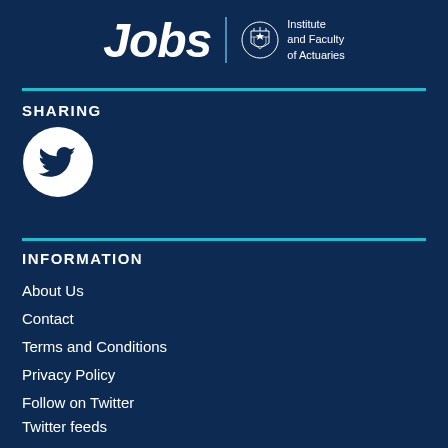[Figure (logo): Actuarial Jobs logo with 'Jobs' text in italic bold white, alongside Institute and Faculty of Actuaries crest and text]
SHARING
[Figure (logo): Twitter bird icon in white on a white circle background]
INFORMATION
About Us
Contact
Terms and Conditions
Privacy Policy
Follow on Twitter
Twitter feeds
Advertise with us